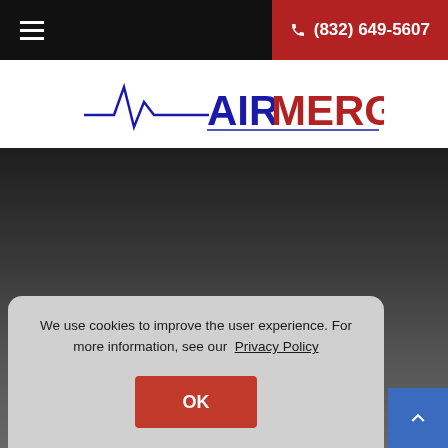≡  (832) 649-5607
[Figure (logo): Airmergency logo with heartbeat/pulse line graphic. 'AIR' in blue bold text, 'MERGENCY' in red bold text.]
About Us
Free Quote
We use cookies to improve the user experience. For more information, see our Privacy Policy
OK